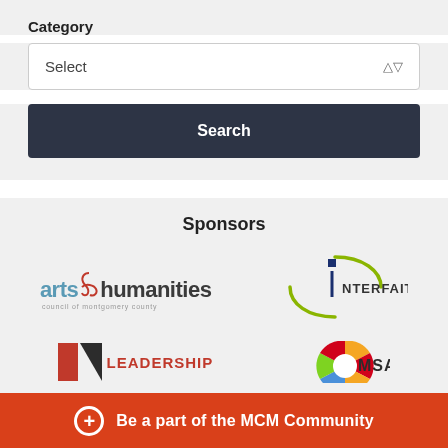Category
Select
Search
Sponsors
[Figure (logo): Arts & Humanities Council of Montgomery County logo with teal and dark text]
[Figure (logo): Interfaith Works logo with arc graphic and blue square]
[Figure (logo): Leadership Montgomery logo with red and dark squares]
[Figure (logo): MSAC (Maryland State Arts Council) partial logo with colorful circle]
Be a part of the MCM Community